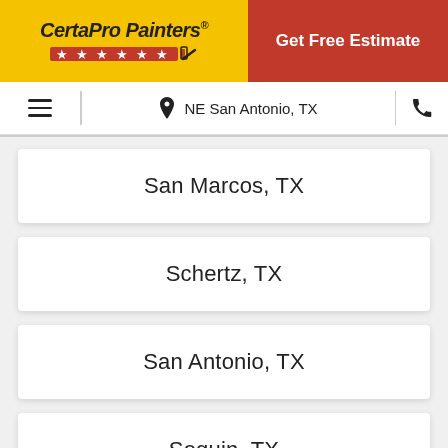[Figure (logo): CertaPro Painters logo on yellow background with stars and paint roller icon]
Get Free Estimate
NE San Antonio, TX
San Marcos, TX
Schertz, TX
San Antonio, TX
Seguin, TX